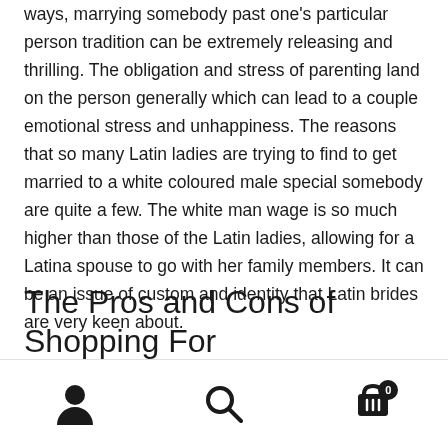ways, marrying somebody past one's particular person tradition can be extremely releasing and thrilling. The obligation and stress of parenting land on the person generally which can lead to a couple emotional stress and unhappiness. The reasons that so many Latin ladies are trying to find to get married to a white coloured male special somebody are quite a few. The white man wage is so much higher than those of the Latin ladies, allowing for a Latina spouse to go with her family members. It can be an issue of custom and identity that Latin brides are very keen about.
The Pros and Cons of Shopping For
user icon | search icon | cart icon with badge 0